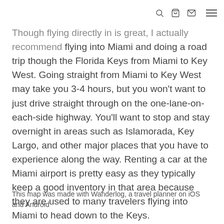[navigation icons: search, bag, mail, menu]
Though flying directly in is great, I actually recommend flying into Miami and doing a road trip though the Florida Keys from Miami to Key West. Going straight from Miami to Key West may take you 3-4 hours, but you won't want to just drive straight through on the one-lane-on-each-side highway. You'll want to stop and stay overnight in areas such as Islamorada, Key Largo, and other major places that you have to experience along the way. Renting a car at the Miami airport is pretty easy as they typically keep a good inventory in that area because they are used to many travelers flying into Miami to head down to the Keys.
This map was made with Wanderlog, a travel planner on iOS and Android